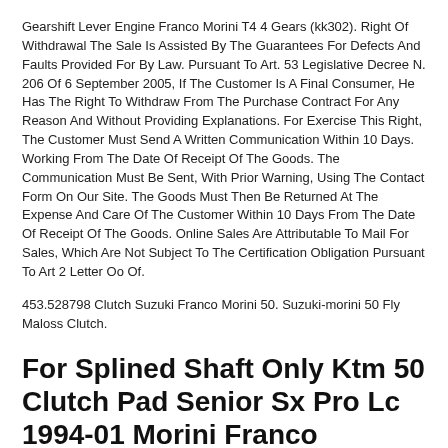Gearshift Lever Engine Franco Morini T4 4 Gears (kk302). Right Of Withdrawal The Sale Is Assisted By The Guarantees For Defects And Faults Provided For By Law. Pursuant To Art. 53 Legislative Decree N. 206 Of 6 September 2005, If The Customer Is A Final Consumer, He Has The Right To Withdraw From The Purchase Contract For Any Reason And Without Providing Explanations. For Exercise This Right, The Customer Must Send A Written Communication Within 10 Days. Working From The Date Of Receipt Of The Goods. The Communication Must Be Sent, With Prior Warning, Using The Contact Form On Our Site. The Goods Must Then Be Returned At The Expense And Care Of The Customer Within 10 Days From The Date Of Receipt Of The Goods. Online Sales Are Attributable To Mail For Sales, Which Are Not Subject To The Certification Obligation Pursuant To Art 2 Letter Oo Of.
453.528798 Clutch Suzuki Franco Morini 50. Suzuki-morini 50 Fly Maloss Clutch.
For Splined Shaft Only Ktm 50 Clutch Pad Senior Sx Pro Lc 1994-01 Morini Franco
For Ktm50 Clutch Pad Assembly Senior Sr Sx Pro Lc 1994-2001 Morini Franco. This Clutch Pad Is For Franco Morini 50cc Engine. Ktm 50 1994